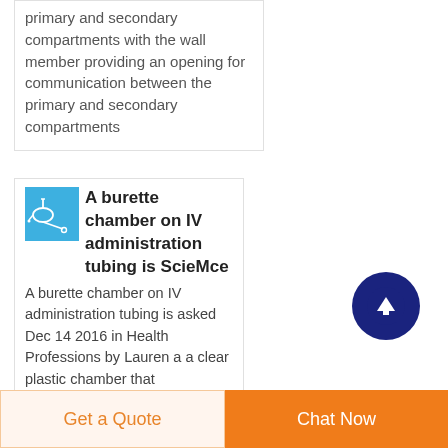primary and secondary compartments with the wall member providing an opening for communication between the primary and secondary compartments
[Figure (illustration): Blue thumbnail image of IV tubing/burette chamber]
A burette chamber on IV administration tubing is ScieMce
A burette chamber on IV administration tubing is asked Dec 14 2016 in Health Professions by Lauren a a clear plastic chamber that
[Figure (other): Dark blue circular scroll-to-top arrow button]
Get a Quote
Chat Now